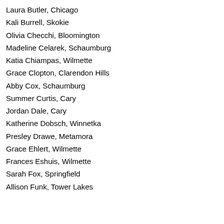Laura Butler, Chicago
Kali Burrell, Skokie
Olivia Checchi, Bloomington
Madeline Celarek, Schaumburg
Katia Chiampas, Wilmette
Grace Clopton, Clarendon Hills
Abby Cox, Schaumburg
Summer Curtis, Cary
Jordan Dale, Cary
Katherine Dobsch, Winnetka
Presley Drawe, Metamora
Grace Ehlert, Wilmette
Frances Eshuis, Wilmette
Sarah Fox, Springfield
Allison Funk, Tower Lakes